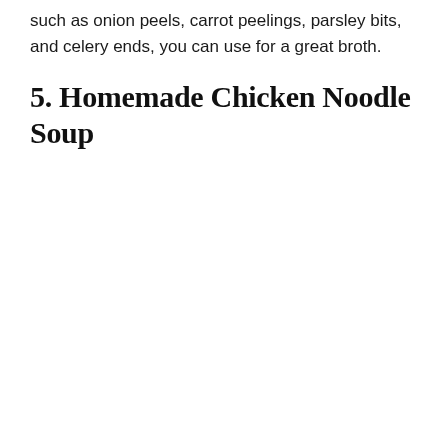such as onion peels, carrot peelings, parsley bits, and celery ends, you can use for a great broth.
5. Homemade Chicken Noodle Soup